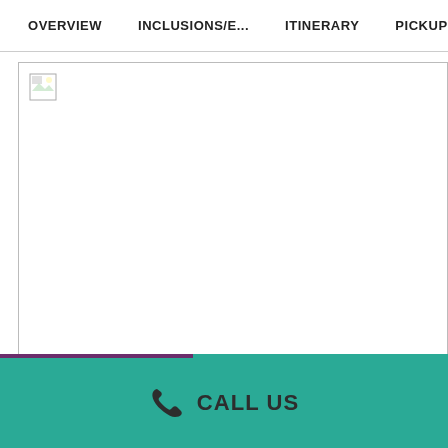OVERVIEW   INCLUSIONS/E...   ITINERARY   PICKUP POI...
[Figure (photo): Broken/missing image placeholder in a bordered rectangle]
CALL US